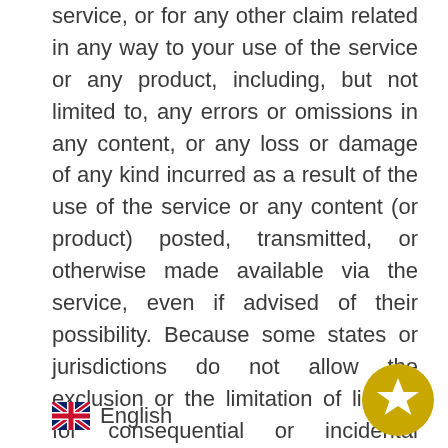service, or for any other claim related in any way to your use of the service or any product, including, but not limited to, any errors or omissions in any content, or any loss or damage of any kind incurred as a result of the use of the service or any content (or product) posted, transmitted, or otherwise made available via the service, even if advised of their possibility. Because some states or jurisdictions do not allow the exclusion or the limitation of liability for consequential or incidental damages, in such states or jurisdictions, our liability shall be limited to the maximum extent permitted by law.
🇬🇧 English